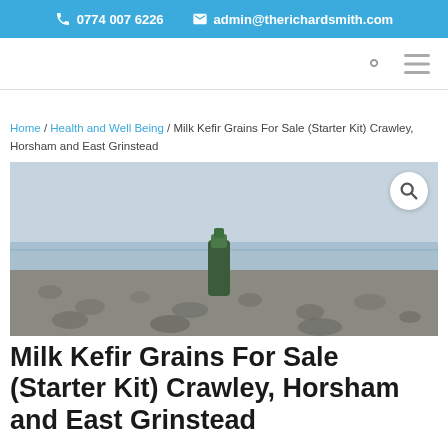📞 0774 007 6226   ✉ admin@therichardsmith.com
Home / Health and Well Being / Milk Kefir Grains For Sale (Starter Kit) Crawley, Horsham and East Grinstead
[Figure (photo): A beach scene with pebbles and sea in the background, featuring a green object in the foreground. A magnify search button is overlaid in the top-right corner.]
Milk Kefir Grains For Sale (Starter Kit) Crawley, Horsham and East Grinstead